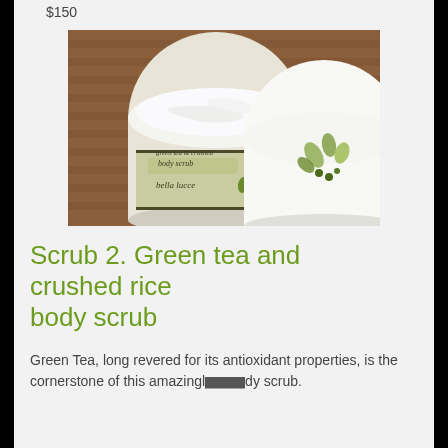$150
[Figure (photo): Two jars of Bella Lucce green tea and crushed body scrub product, open showing white creamy contents, with decorative leaf label, placed on wooden surface]
Scrub 2. Green tea and crushed rice body scrub
Green Tea, long revered for its antioxidant properties, is the cornerstone of this amazingly body scrub.